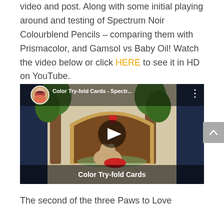video and post. Along with some initial playing around and testing of Spectrum Noir Colourblend Pencils – comparing them with Prismacolor, and Gamsol vs Baby Oil! Watch the video below or click HERE to see it in HD on YouTube.
[Figure (screenshot): YouTube video thumbnail showing 'Color Try-fold Cards - Spectr...' with a colored illustration of trees and a small animal in a doorway. A play button is visible in the center. The video title 'Color Try-fold Cards' appears at the bottom. A circular avatar of a woman with red hair and glasses appears in the top left.]
The second of the three Paws to Love